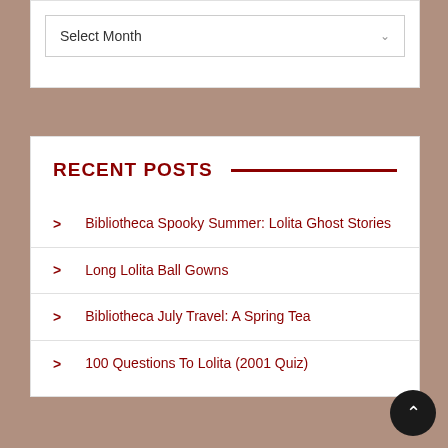[Figure (screenshot): Select Month dropdown widget with white background and chevron icon]
RECENT POSTS
Bibliotheca Spooky Summer: Lolita Ghost Stories
Long Lolita Ball Gowns
Bibliotheca July Travel: A Spring Tea
100 Questions To Lolita (2001 Quiz)